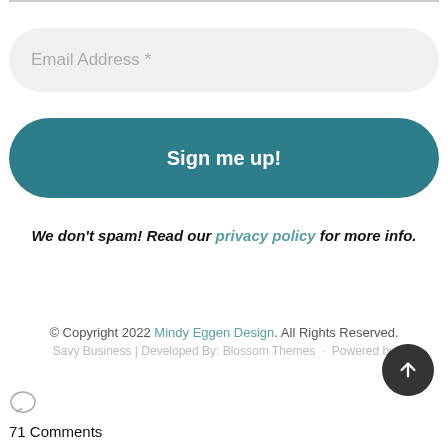[Figure (other): Email address input field with placeholder text 'Email Address *' on a light gray rounded background]
[Figure (other): Teal rounded button labeled 'Sign me up!']
We don't spam! Read our privacy policy for more info.
© Copyright 2022 Mindy Eggen Design. All Rights Reserved. Savy Business | Developed By: Blossom Themes · Powered by
71 Comments